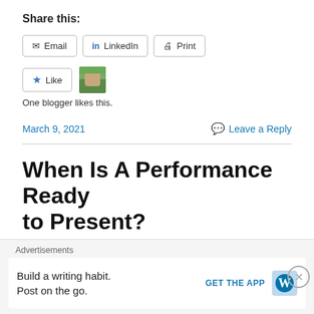Share this:
Email   LinkedIn   Print
[Figure (other): Like button with star icon, followed by a small avatar photo thumbnail]
One blogger likes this.
March 9, 2021      Leave a Reply
When Is A Performance Ready to Present?
[Figure (photo): Partial photo of a person, cropped at the top of the head]
Advertisements
Build a writing habit.
Post on the go.
GET THE APP